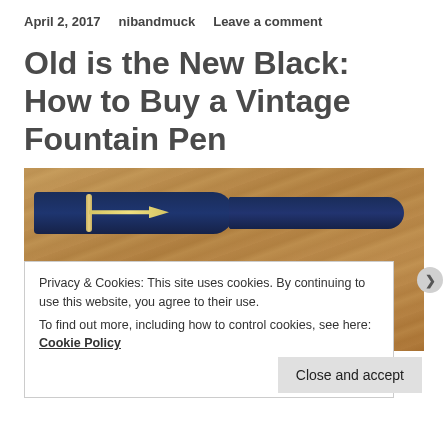April 2, 2017    nibandmuck    Leave a comment
Old is the New Black: How to Buy a Vintage Fountain Pen
[Figure (photo): Two fountain pens on a wood surface. Top pen has a dark navy blue cap and body with gold trim and nib. Bottom pen is silver/grey with a cross emblem near the clip.]
Privacy & Cookies: This site uses cookies. By continuing to use this website, you agree to their use.
To find out more, including how to control cookies, see here: Cookie Policy
Close and accept